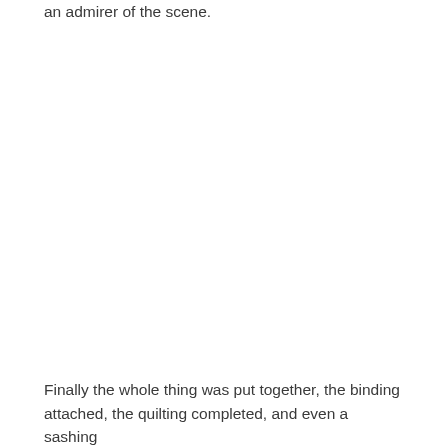an admirer of the scene.
Finally the whole thing was put together, the binding attached, the quilting completed, and even a sashing f... The quilt NINE...